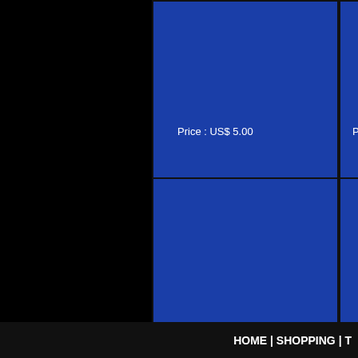[Figure (screenshot): Blue product tile showing Price: US$ 5.00, top-left grid cell]
[Figure (screenshot): Blue product tile showing Price (partially visible), top-right grid cell]
[Figure (screenshot): Blue product tile showing Price: US$ 5.00, bottom-left grid cell]
[Figure (screenshot): Blue product tile showing Price (partially visible), bottom-right grid cell]
1-9 of 15 Templates
HOME | SHOPPING | T...